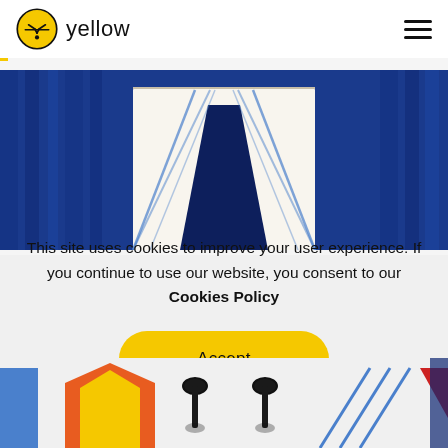[Figure (logo): Yellow brand logo: yellow circle with stylized face icon, text 'yellow' beside it, and hamburger menu icon on right]
[Figure (illustration): Blue background hero illustration showing a road or runway perspective with a white panel in center and diagonal lines, dark blue center trapezoid]
This site uses cookies to improve your user experience. If you continue to use our website, you consent to our Cookies Policy
[Figure (illustration): Accept button - yellow rounded rectangle with text 'Accept']
[Figure (illustration): Bottom strip showing partial colorful illustrations: orange/yellow tent shape, pin icons, blue rectangles, red triangle]